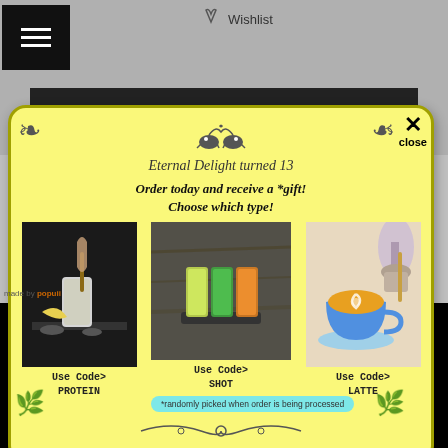[Figure (screenshot): App interface showing wishlist icon and hamburger menu at top]
[Figure (infographic): Popup modal on yellow background: Eternal Delight turned 13 anniversary promotion. Order today and receive a gift. Three product choices: Protein shake (Use Code> PROTEIN), Shot glasses (Use Code> SHOT), Latte (Use Code> LATTE). Note: randomly picked when order is being processed.]
Eternal Delight turned 13
Order today and receive a *gift! Choose which type!
Use Code> PROTEIN
Use Code> SHOT
Use Code> LATTE
*randomly picked when order is being processed
[Figure (screenshot): Bottom dark banner showing TO THE GYM text with cart icon]
made by popuii